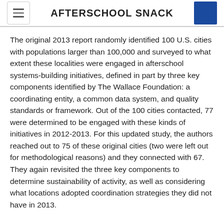AFTERSCHOOL SNACK
The original 2013 report randomly identified 100 U.S. cities with populations larger than 100,000 and surveyed to what extent these localities were engaged in afterschool systems-building initiatives, defined in part by three key components identified by The Wallace Foundation: a coordinating entity, a common data system, and quality standards or framework. Out of the 100 cities contacted, 77 were determined to be engaged with these kinds of initiatives in 2012-2013. For this updated study, the authors reached out to 75 of these original cities (two were left out for methodological reasons) and they connected with 67. They again revisited the three key components to determine sustainability of activity, as well as considering what locations adopted coordination strategies they did not have in 2013.